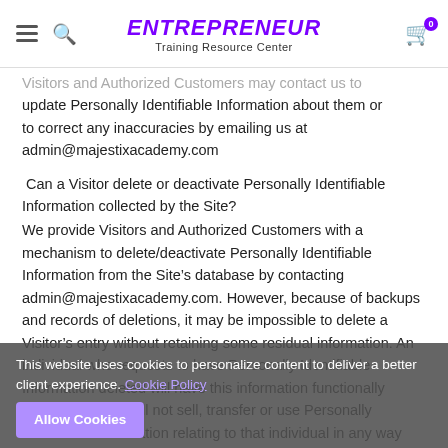ENTREPRENEUR Training Resource Center
Visitors and Authorized Customers may contact us to update Personally Identifiable Information about them or to correct any inaccuracies by emailing us at admin@majestixacademy.com
Can a Visitor delete or deactivate Personally Identifiable Information collected by the Site?
We provide Visitors and Authorized Customers with a mechanism to delete/deactivate Personally Identifiable Information from the Site’s database by contacting admin@majestixacademy.com. However, because of backups and records of deletions, it may be impossible to delete a Visitor’s entry without retaining some residual information. An individual who requests to have Personally Identifiable Information deleted will have this information functionally deleted, and we will not sell, transfer or use Personally Identifiable Information relating to that individual in any way moving forward.
This website uses cookies to personalize content to deliver a better client experience. Cookie Policy
Allow Cookies